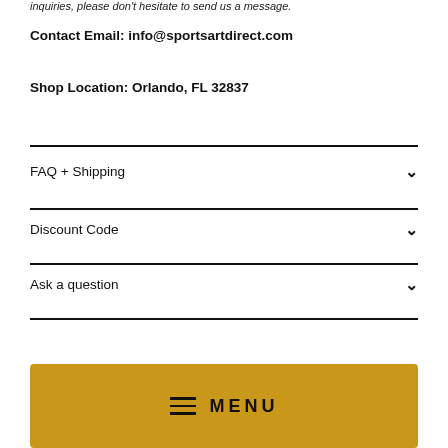inquiries, please don't hesitate to send us a message.
Contact Email: info@sportsartdirect.com
Shop Location: Orlando, FL 32837
FAQ + Shipping
Discount Code
Ask a question
MENU